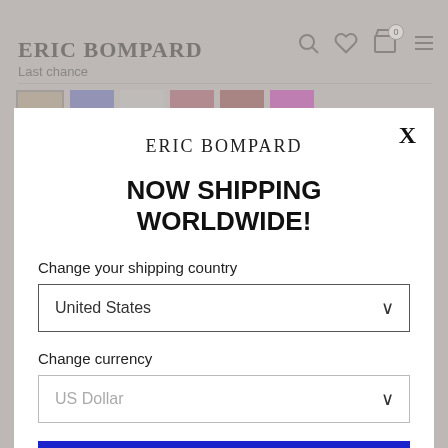ERIC BOMPARD
Last chance
[Figure (screenshot): A modal dialog on the Eric Bompard e-commerce website. The modal has a white background and contains the Eric Bompard brand name, the text NOW SHIPPING WORLDWIDE!, two dropdowns for shipping country (United States) and currency (US Dollar), and a blue SAVE button. An X close button is in the top right corner.]
ERIC BOMPARD
NOW SHIPPING WORLDWIDE!
Change your shipping country
United States
Change currency
US Dollar
SAVE